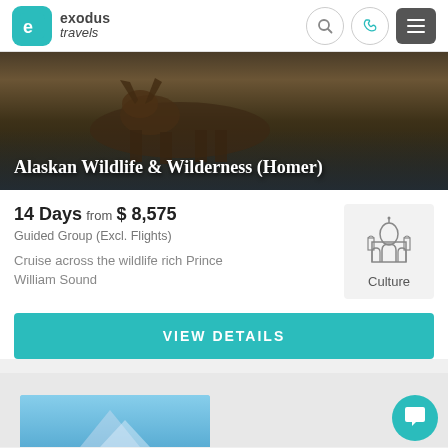exodus travels
[Figure (photo): Hero image of a moose or bear in water, dark tones, with title overlay 'Alaskan Wildlife & Wilderness (Homer)']
Alaskan Wildlife & Wilderness (Homer)
14 Days from $ 8,575
Guided Group (Excl. Flights)
Cruise across the wildlife rich Prince William Sound
[Figure (illustration): Culture icon — line drawing of a domed building (Taj Mahal style) with label 'Culture']
VIEW DETAILS
[Figure (photo): Partial blue sky/landscape image at bottom of page]